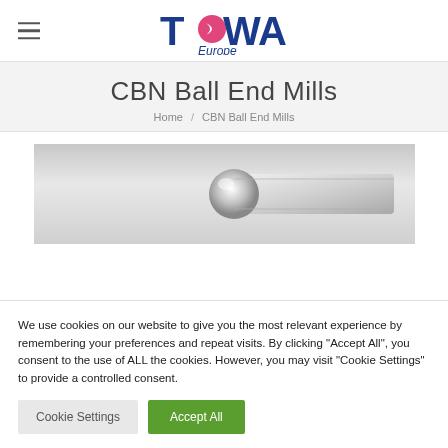TOWA Europe
CBN Ball End Mills
Home / CBN Ball End Mills
[Figure (photo): Close-up product photo of a CBN Ball End Mill cutting tool with metallic shank on a grey gradient background]
We use cookies on our website to give you the most relevant experience by remembering your preferences and repeat visits. By clicking "Accept All", you consent to the use of ALL the cookies. However, you may visit "Cookie Settings" to provide a controlled consent.